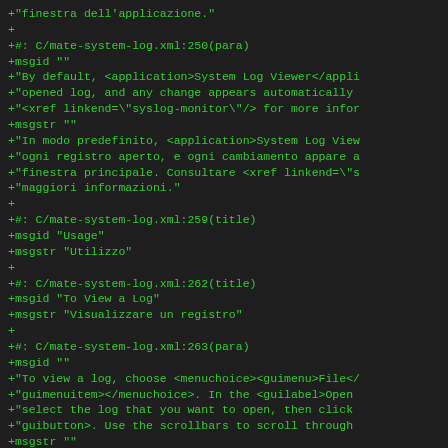+"finestra dell'applicazione."
+
+#: C/mate-system-log.xml:250(para)
+msgid ""
+"By default, <application>System Log Viewer</appli
+"opened log, and any change appears automatically
+"<xref linkend=\"syslog-monitor\"/> for more infor
+msgstr ""
+"In modo predefinito, <application>System Log View
+"ogni registro aperto, e ogni cambiamento appare a
+"finestra principale. Consultare <xref linkend=\"s
+"maggiori informazioni."
+
+#: C/mate-system-log.xml:259(title)
+msgid "Usage"
+msgstr "Utilizzo"
+
+#: C/mate-system-log.xml:262(title)
+msgid "To View a Log"
+msgstr "Visualizzare un registro"
+
+#: C/mate-system-log.xml:263(para)
+msgid ""
+"To view a log, choose <menuchoice><guimenu>File</
+"guimenuitem></menuchoice>. In the <guilabel>Open
+"select the log that you want to open, then click
+"guibutton>. Use the scrollbars to scroll through
+msgstr ""
+"Per visualizzare un registro, scegliere <menuchoi
+"guimenu><guimenuitem>Apri</guimenuitem></menucho